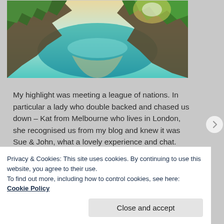[Figure (photo): Aerial view of rocky coastline with turquoise water and lush green trees, bright sunlight in the background]
My highlight was meeting a league of nations. In particular a lady who double backed and chased us down – Kat from Melbourne who lives in London, she recognised us from my blog and knew it was Sue & John, what a lovely experience and chat.
Privacy & Cookies: This site uses cookies. By continuing to use this website, you agree to their use.
To find out more, including how to control cookies, see here: Cookie Policy
Close and accept